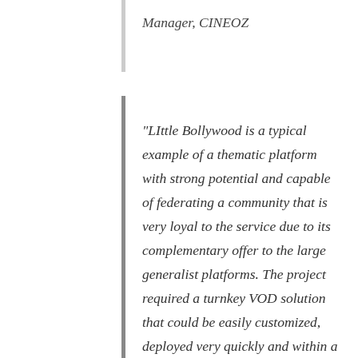Manager, CINEOZ
"LIttle Bollywood is a typical example of a thematic platform with strong potential and capable of federating a community that is very loyal to the service due to its complementary offer to the large generalist platforms. The project required a turnkey VOD solution that could be easily customized, deployed very quickly and within a competitive budget. Thanks to our SaaS software, CINEOZ is now able to offer its content in streaming by subscription worldwide."